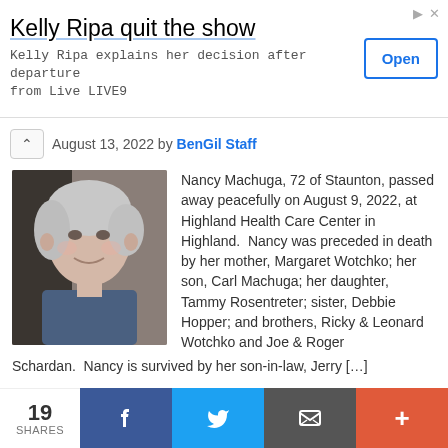[Figure (screenshot): Advertisement banner: 'Kelly Ripa quit the show' with subtitle 'Kelly Ripa explains her decision after departure from Live LIVE9' and an Open button]
August 13, 2022 by BenGil Staff
[Figure (photo): Photo of Nancy Machuga, an elderly woman with short gray hair, smiling, wearing a blue top]
Nancy Machuga, 72 of Staunton, passed away peacefully on August 9, 2022, at Highland Health Care Center in Highland.  Nancy was preceded in death by her mother, Margaret Wotchko; her son, Carl Machuga; her daughter, Tammy Rosentreter; sister, Debbie Hopper; and brothers, Ricky & Leonard Wotchko and Joe & Roger Schardan.  Nancy is survived by her son-in-law, Jerry [...]
CUSD 7 board hires Highland
19 SHARES
[Figure (screenshot): Social sharing bar with Facebook, Twitter, email, and plus buttons]